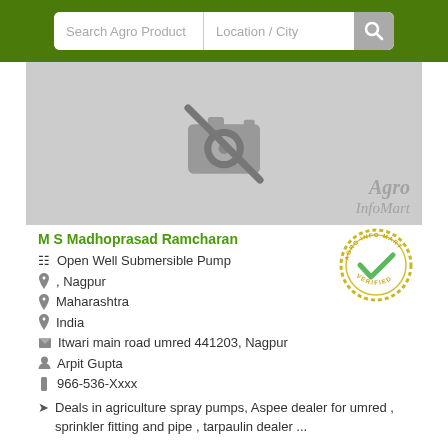[Figure (screenshot): Search bar with 'Search Agro Product' and 'Location / City' inputs with a search icon, on a dark green header background]
[Figure (photo): No image placeholder with a camera-with-slash icon and 'Agro InfoMart' watermark on grey background]
M S Madhoprasad Ramcharan
Open Well Submersible Pump
, Nagpur
Maharashtra
India
Itwari main road umred 441203, Nagpur
Arpit Gupta
966-536-Xxxx
Deals in agriculture spray pumps, Aspee dealer for umred , sprinkler fitting and pipe , tarpaulin dealer ...